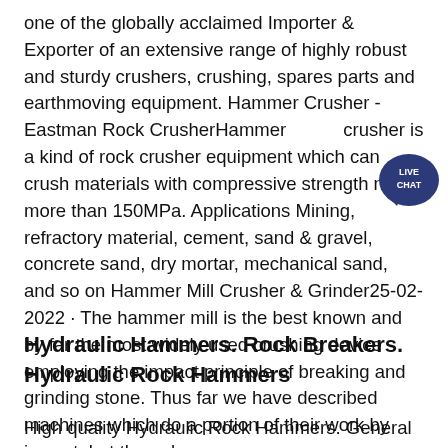one of the globally acclaimed Importer & Exporter of an extensive range of highly robust and sturdy crushers, crushing, spares parts and earthmoving equipment. Hammer Crusher - Eastman Rock CrusherHammer crusher is a kind of rock crusher equipment which can crush materials with compressive strength no more than 150MPa. Applications Mining, refractory material, cement, sand & gravel, concrete sand, dry mortar, mechanical sand, and so on Hammer Mill Crusher & Grinder25-02-2022 · The hammer mill is the best known and by far the most widely used crushing device employing the impact principle of breaking and grinding stone. Thus far we have described machines which do a portion of their work by impact, but the only
[Figure (other): Live chat speech bubble icon with dark navy background and white text reading LIVE CHAT]
Hydraulic Hammers. Rock Breakers. Hydraulic Rock Hammers
High quality Hydraulic Rock Hammers. General Breakers